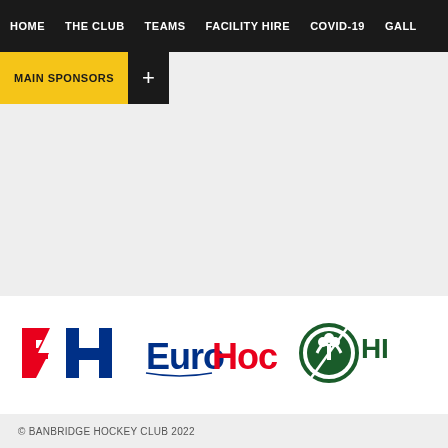HOME | THE CLUB | TEAMS | FACILITY HIRE | COVID-19 | GALLE...
MAIN SPONSORS +
[Figure (logo): FIH (International Hockey Federation) logo in red and blue]
[Figure (logo): EuroHockey logo in blue and red text]
[Figure (logo): Hockey Ireland logo - green circle with shamrock and H I letters]
© BANBRIDGE HOCKEY CLUB 2022